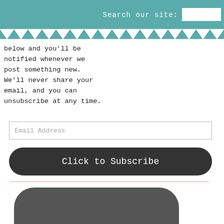Search our site:
below and you'll be notified whenever we post something new. We'll never share your email, and you can unsubscribe at any time.
Email Address
Click to Subscribe
[Figure (logo): foodgawker my gallery logo — white bowl icon on dark rounded-square background]
Check the potatoes after 5 m... quickly than whole potatoes; s... than larger potatoes. Begin... minutes of boiling; most potato...
Potatoes are done when ten... are tender all the way through... with a fork, paring knife, or sk... way to the center, the potatoes...
Drain the potatoes: Drain cu... potatoes out with a slotted s... potatoes, you can run the pot... an ice water bath to cool them...
high heat and bring the water to a bare simmer to cook th... changes the environment in th... mushy.)
[Figure (photo): Close-up photo of cooked potatoes]